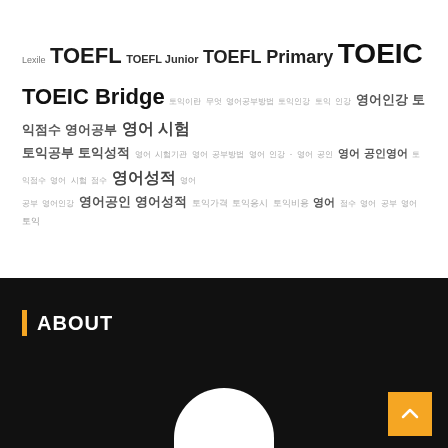Lexile TOEFL TOEFL Junior TOEFL Primary TOEIC TOEIC Bridge 토익 성적 영어공부 방법 토익 점수 영어 영어공부 성적표 점수 공인영어 영어 시험 점수 영어 공부 방법 성적 공인영어 성적표 영어 시험 점수 영어공부 영어 점수 영어 공인영어 영어성적 영어 점수 영어 공부 영어성적 영어 공인영어 영어성적 영어 점수 영어 공부 영어성적 공인영어 영어 공부 공인영어 영어점수 영어 점수 영어공부
ABOUT